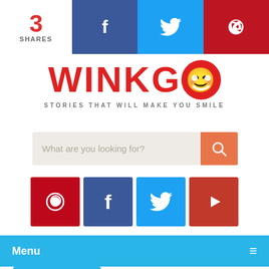3 SHARES
WINKGO - STORIES THAT WILL MAKE YOU SMILE
What are you looking for?
[Figure (screenshot): Social media icon buttons: Pinterest (red circle icon), Facebook (dark blue f), Twitter (light blue bird), YouTube (red play button)]
Menu
Entertainment
He Sings an Awesome Cover of